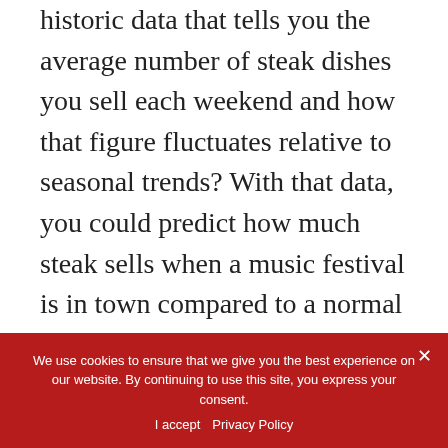historic data that tells you the average number of steak dishes you sell each weekend and how that figure fluctuates relative to seasonal trends? With that data, you could predict how much steak sells when a music festival is in town compared to a normal weekend in winter. On top of that, you could track sales in real time during the weekend to determine if your ordering volume is higher than normal and you need to make a rush order.
Reducing the excess inventory you carry
We use cookies to ensure that we give you the best experience on our website. By continuing to use this site, you express your consent.
I accept   Privacy Policy